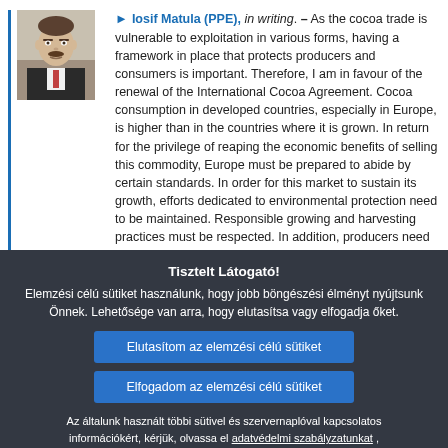[Figure (photo): Portrait photo of Iosif Matula (PPE), a middle-aged man in a dark suit with a tie, shown from the shoulders up.]
Iosif Matula (PPE), in writing. – As the cocoa trade is vulnerable to exploitation in various forms, having a framework in place that protects producers and consumers is important. Therefore, I am in favour of the renewal of the International Cocoa Agreement. Cocoa consumption in developed countries, especially in Europe, is higher than in the countries where it is grown. In return for the privilege of reaping the economic benefits of selling this commodity, Europe must be prepared to abide by certain standards. In order for this market to sustain its growth, efforts dedicated to environmental protection need to be maintained. Responsible growing and harvesting practices must be respected. In addition, cocoa producers need to be adequately remunerated. It is much too easy in a system like this to ensure that the majority of the profits wind up in the hands of the people who simply market the product, not in the hands of those who actually produce it. Certainly in order for these and other standards not mentioned here to be met, transparency is key. C...
Tisztelt Látogató!
Elemzési célú sütiket használunk, hogy jobb böngészési élményt nyújtsunk Önnek. Lehetősége van arra, hogy elutasítsa vagy elfogadja őket.
Elutasítom az elemzési célú sütiket
Elfogadom az elemzési célú sütiket
Az általunk használt többi sütivel és szervernaplóval kapcsolatos információkért, kérjük, olvassa el adatvédelmi szabályzatunkat , sütikre vonatkozó szabályzatunkat és sütijegyzékünket.